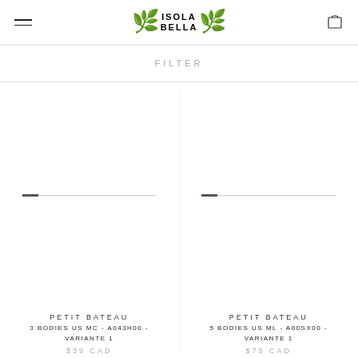ISOLA BELLA
FILTER
[Figure (illustration): Product image placeholder for first item (no image loaded)]
PETIT BATEAU
3 BODIES US MC - A043H00 - VARIANTE 1
$39 CAD
[Figure (illustration): Product image placeholder for second item (no image loaded)]
PETIT BATEAU
5 BODIES US ML - A00SX00 - VARIANTE 1
$75 CAD